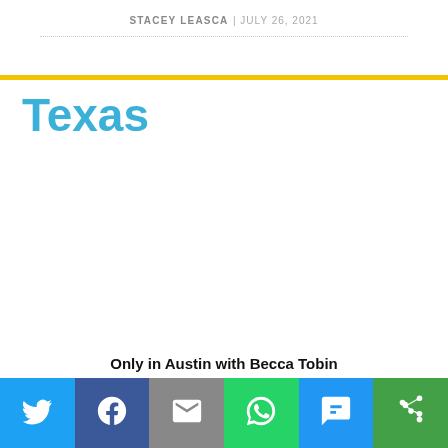STACEY LEASCA | JULY 26, 2021
Texas
Only in Austin with Becca Tobin